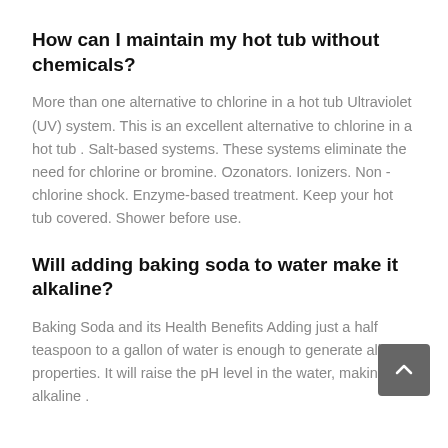How can I maintain my hot tub without chemicals?
More than one alternative to chlorine in a hot tub Ultraviolet (UV) system. This is an excellent alternative to chlorine in a hot tub . Salt-based systems. These systems eliminate the need for chlorine or bromine. Ozonators. Ionizers. Non -chlorine shock. Enzyme-based treatment. Keep your hot tub covered. Shower before use.
Will adding baking soda to water make it alkaline?
Baking Soda and its Health Benefits Adding just a half teaspoon to a gallon of water is enough to generate alkaline properties. It will raise the pH level in the water, making it alkaline .